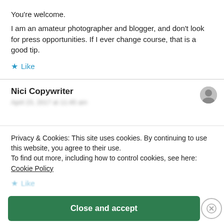You're welcome.
I am an amateur photographer and blogger, and don't look for press opportunities. If I ever change course, that is a good tip.
★ Like
Nici Copywriter
Privacy & Cookies: This site uses cookies. By continuing to use this website, you agree to their use.
To find out more, including how to control cookies, see here: Cookie Policy
Close and accept